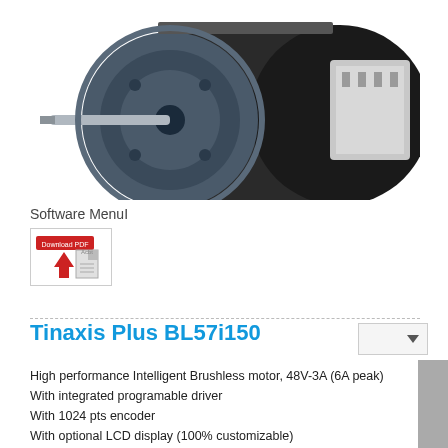[Figure (photo): Photograph of a brushless DC motor with metallic cylindrical body, shaft protruding from the front, and a connector assembly on the right side.]
Software MenuI
[Figure (other): Download PDF button/badge with red arrow and document icon.]
Tinaxis Plus BL57i150
High performance Intelligent Brushless motor, 48V-3A (6A peak)
With integrated programable driver
With 1024 pts encoder
With optional LCD display (100% customizable)
With RS485